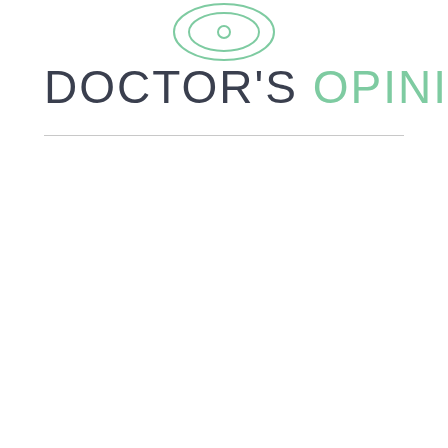[Figure (logo): Concentric eye/lens icon with teal/green outline strokes, centered at top of page]
DOCTOR'S OPINION